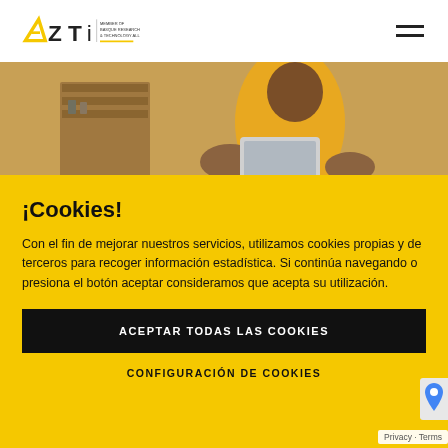[Figure (logo): AZTI logo with text 'MEMBER OF BASQUE RESEARCH & TECHNOLOGY ALLIANCE' and hamburger menu icon]
[Figure (photo): Person in yellow shirt holding a tablet, sitting at a desk with shelves in background]
¡Cookies!
Con el fin de mejorar nuestros servicios, utilizamos cookies propias y de terceros para recoger información estadística. Si continúa navegando o presiona el botón aceptar consideramos que acepta su utilización.
ACEPTAR TODAS LAS COOKIES
CONFIGURACIÓN DE COOKIES
which generates a strong demand for novel strategies to control this pathogen from farm to